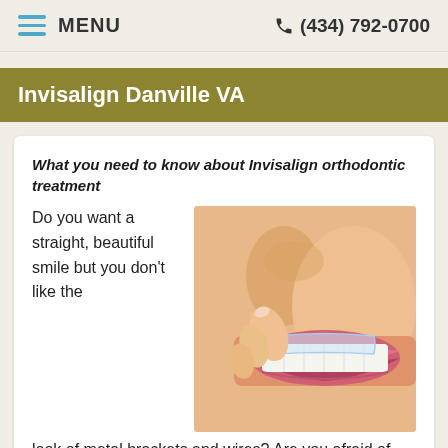MENU   (434) 792-0700
Invisalign Danville VA
What you need to know about Invisalign orthodontic treatment
[Figure (photo): Close-up photo of a smiling woman placing a clear Invisalign aligner on her teeth with her fingers.]
Do you want a straight, beautiful smile but you don't like the look of metal brackets and wires? Are you afraid of